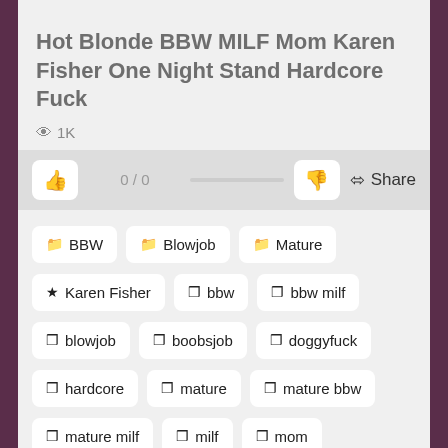Hot Blonde BBW MILF Mom Karen Fisher One Night Stand Hardcore Fuck
👁 1K
0 / 0  Share
📁 BBW
📁 Blowjob
📁 Mature
★ Karen Fisher
🏷 bbw
🏷 bbw milf
🏷 blowjob
🏷 boobsjob
🏷 doggyfuck
🏷 hardcore
🏷 mature
🏷 mature bbw
🏷 mature milf
🏷 milf
🏷 mom